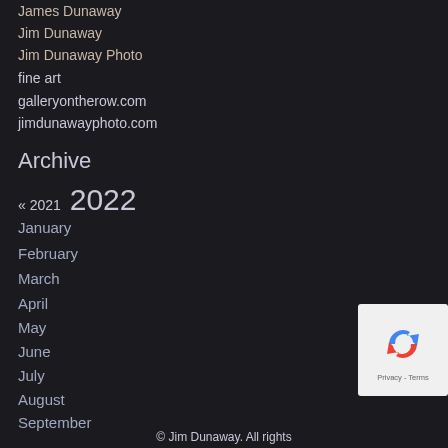James Dunaway
Jim Dunaway
Jim Dunaway Photo
fine art
galleryontherow.com
jimdunawayphoto.com
Archive
« 2021  2022
January
February
March
April
May
June
July
August
September
[Figure (other): reCAPTCHA widget with recycling arrow logo and Privacy - Terms text]
© Jim Dunaway. All rights